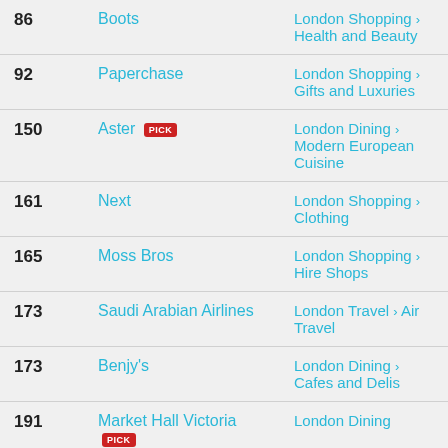| # | Name | Category |
| --- | --- | --- |
| 86 | Boots | London Shopping > Health and Beauty |
| 92 | Paperchase | London Shopping > Gifts and Luxuries |
| 150 | Aster [PICK] | London Dining > Modern European Cuisine |
| 161 | Next | London Shopping > Clothing |
| 165 | Moss Bros | London Shopping > Hire Shops |
| 173 | Saudi Arabian Airlines | London Travel > Air Travel |
| 173 | Benjy's | London Dining > Cafes and Delis |
| 191 | Market Hall Victoria [PICK] | London Dining |
| 191 | The Qube Project [PICK] | London Nightlife > Nightclubs |